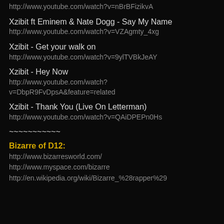http://www.youtube.com/watch?v=nBrBFizikvA
Xzibit ft Eminem & Nate Dogg - Say My Name
http://www.youtube.com/watch?v=VZAgmty_4xg
Xzibit - Get your walk on
http://www.youtube.com/watch?v=9ylTVBkJeAY
Xzibit - Hey Now
http://www.youtube.com/watch?v=DbpR9FvDpsA&feature=related
Xzibit - Thank You (Live On Letterman)
http://www.youtube.com/watch?v=QAiDPEPn0Hs
~~~~~~~~~~~
Bizarre of D12:
http://www.bizarresworld.com/
http://www.myspace.com/bizarre
http://en.wikipedia.org/wiki/Bizarre_%28rapper%29